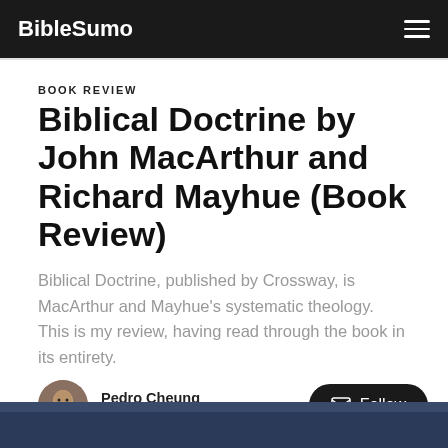BibleSumo
BOOK REVIEW
Biblical Doctrine by John MacArthur and Richard Mayhue (Book Review)
Biblical Doctrine, published by Crossway, is MacArthur and Mayhue’s systematic theology. This is my review, having read through the book in its entirety.
Pedro Cheung
Jan 30, 2019 • 5 min read